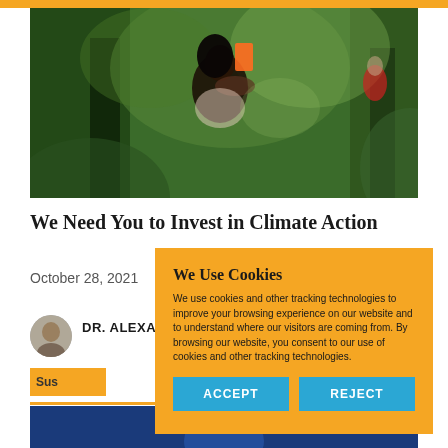[Figure (photo): A person in a forest holding a mobile phone/device, photographing or recording nature. Green tropical forest background with trees and foliage. Another figure visible in the upper right background.]
We Need You to Invest in Climate Action
October 28, 2021
DR. ALEXANDER DALE
Sus[tainability]
[Figure (photo): Partial blue-toned photo visible at the bottom of the page, appears to show a person in a suit.]
We Use Cookies

We use cookies and other tracking technologies to improve your browsing experience on our website and to understand where our visitors are coming from. By browsing our website, you consent to our use of cookies and other tracking technologies.

[ACCEPT] [REJECT]